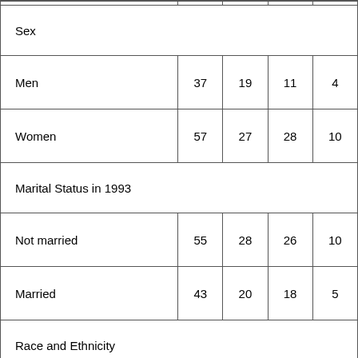| Sex |  |  |  |  |
| Men | 37 | 19 | 11 | 4 |
| Women | 57 | 27 | 28 | 10 |
| Marital Status in 1993 |  |  |  |  |
| Not married | 55 | 28 | 26 | 10 |
| Married | 43 | 20 | 18 | 5 |
| Race and Ethnicity |  |  |  |  |
| NonHispanic White | 48 | 22 | 19 | 7 |